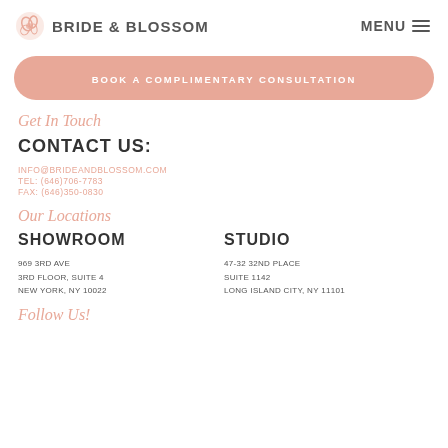BRIDE & BLOSSOM  MENU
BOOK A COMPLIMENTARY CONSULTATION
Get In Touch
CONTACT US:
INFO@BRIDEANDBLOSSOM.COM
TEL: (646)706-7783
FAX: (646)350-0830
Our Locations
SHOWROOM
969 3RD AVE
3RD FLOOR, SUITE 4
NEW YORK, NY 10022
STUDIO
47-32 32ND PLACE
SUITE 1142
LONG ISLAND CITY, NY 11101
Follow Us!